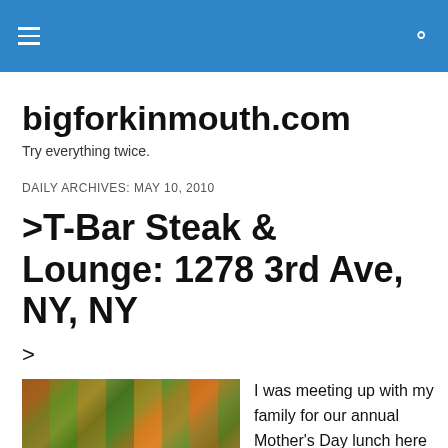Navigation bar with hamburger menu and search icon
bigforkinmouth.com
Try everything twice.
DAILY ARCHIVES: MAY 10, 2010
>T-Bar Steak & Lounge: 1278 3rd Ave, NY, NY
>
[Figure (photo): Interior photo of a colorful restaurant with orange chairs and green/yellow curtains]
I was meeting up with my family for our annual Mother's Day lunch here